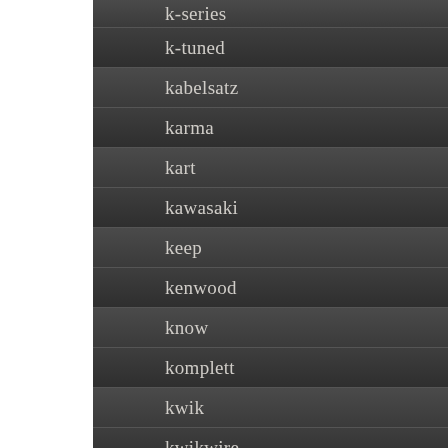k-series
k-tuned
kabelsatz
karma
kart
kawasaki
keep
kenwood
know
komplett
kwik
kwikwire